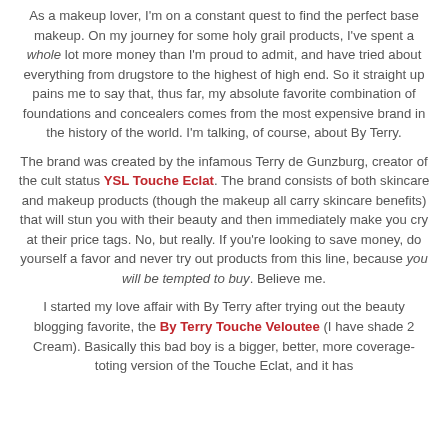As a makeup lover, I'm on a constant quest to find the perfect base makeup. On my journey for some holy grail products, I've spent a whole lot more money than I'm proud to admit, and have tried about everything from drugstore to the highest of high end. So it straight up pains me to say that, thus far, my absolute favorite combination of foundations and concealers comes from the most expensive brand in the history of the world. I'm talking, of course, about By Terry.
The brand was created by the infamous Terry de Gunzburg, creator of the cult status YSL Touche Eclat. The brand consists of both skincare and makeup products (though the makeup all carry skincare benefits) that will stun you with their beauty and then immediately make you cry at their price tags. No, but really. If you're looking to save money, do yourself a favor and never try out products from this line, because you will be tempted to buy. Believe me.
I started my love affair with By Terry after trying out the beauty blogging favorite, the By Terry Touche Veloutee (I have shade 2 Cream). Basically this bad boy is a bigger, better, more coverage-toting version of the Touche Eclat, and it has